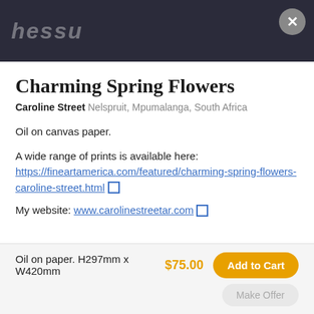[Figure (screenshot): Dark header bar with partially visible website logo text (hessu) in stylized italic font]
Charming Spring Flowers
Caroline Street  Nelspruit, Mpumalanga, South Africa
Oil on canvas paper.
A wide range of prints is available here: https://fineartamerica.com/featured/charming-spring-flowers-caroline-street.html
My website: www.carolinestreetar.com
Oil on paper. H297mm x W420mm
$75.00
Add to Cart
Make Offer